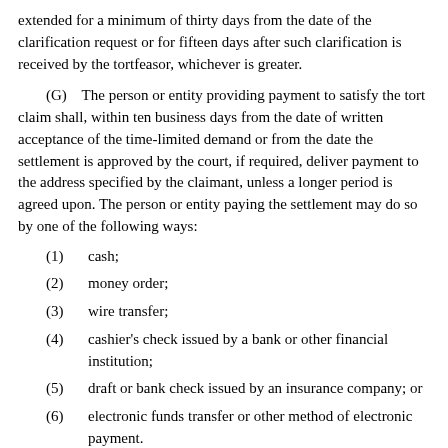extended for a minimum of thirty days from the date of the clarification request or for fifteen days after such clarification is received by the tortfeasor, whichever is greater.
(G)    The person or entity providing payment to satisfy the tort claim shall, within ten business days from the date of written acceptance of the time-limited demand or from the date the settlement is approved by the court, if required, deliver payment to the address specified by the claimant, unless a longer period is agreed upon. The person or entity paying the settlement may do so by one of the following ways:
(1)    cash;
(2)    money order;
(3)    wire transfer;
(4)    cashier's check issued by a bank or other financial institution;
(5)    draft or bank check issued by an insurance company; or
(6)    electronic funds transfer or other method of electronic payment.